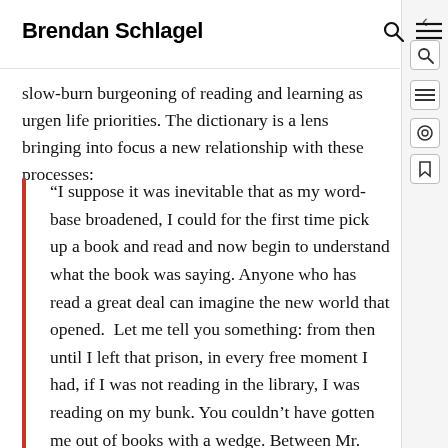Brendan Schlagel
slow-burn burgeoning of reading and learning as urgent life priorities. The dictionary is a lens bringing into focus a new relationship with these processes:
“I suppose it was inevitable that as my word-base broadened, I could for the first time pick up a book and read and now begin to understand what the book was saying. Anyone who has read a great deal can imagine the new world that opened. Let me tell you something: from then until I left that prison, in every free moment I had, if I was not reading in the library, I was reading on my bunk. You couldn’t have gotten me out of books with a wedge. Between Mr. Muhammad’s teachings, my correspondence, my